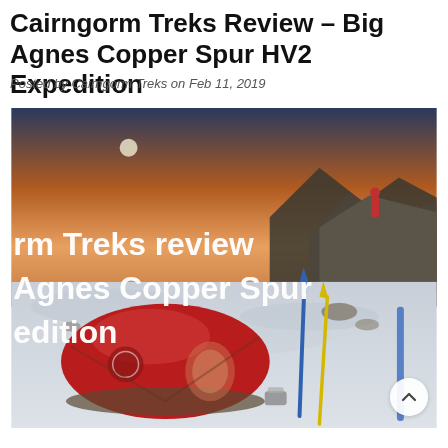Cairngorm Treks Review – Big Agnes Copper Spur HV2 Expedition
Posted by Cairngorm Treks on Feb 11, 2019
[Figure (photo): A red Big Agnes tent pitched in a snowy mountain landscape at dusk/dawn with orange sky. A climber stands on a rocky ridge in the background. Ice axes and poles are visible near the tent. Overlaid white text reads: 'rm Treks review Agnes Copper Spur edition']